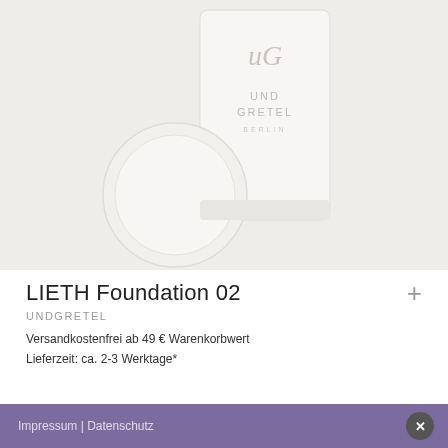[Figure (photo): Product photo of UND GRETEL LIETH Foundation 02 — a white cylindrical container with the stylized 'uG' logo and 'UND GRETEL BERLIN' text, alongside a round compact/swatch on a light grey background.]
LIETH Foundation 02
UNDGRETEL
Versandkostenfrei ab 49 € Warenkorbwert
Lieferzeit: ca. 2-3 Werktage*
Impressum | Datenschutz